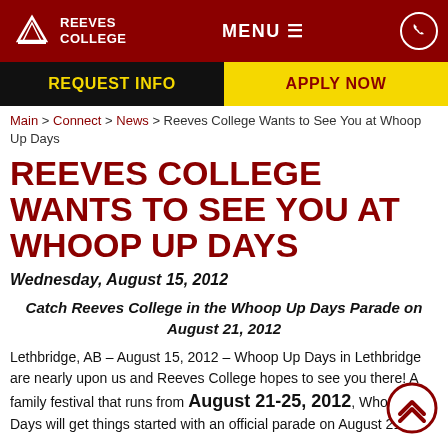Reeves College | MENU | Phone
REQUEST INFO | APPLY NOW
Main > Connect > News > Reeves College Wants to See You at Whoop Up Days
REEVES COLLEGE WANTS TO SEE YOU AT WHOOP UP DAYS
Wednesday, August 15, 2012
Catch Reeves College in the Whoop Up Days Parade on August 21, 2012
Lethbridge, AB – August 15, 2012 – Whoop Up Days in Lethbridge are nearly upon us and Reeves College hopes to see you there! A family festival that runs from August 21-25, 2012, Whoop Up Days will get things started with an official parade on August 21st.